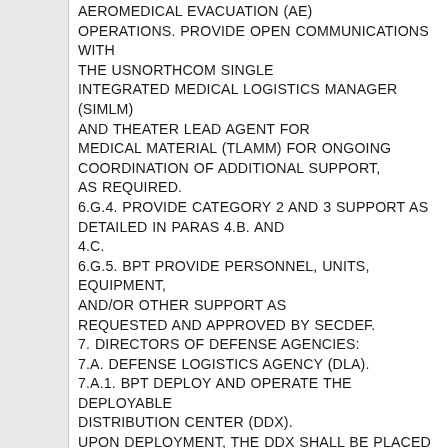AEROMEDICAL EVACUATION (AE) OPERATIONS. PROVIDE OPEN COMMUNICATIONS WITH THE USNORTHCOM SINGLE INTEGRATED MEDICAL LOGISTICS MANAGER (SIMLM) AND THEATER LEAD AGENT FOR MEDICAL MATERIAL (TLAMM) FOR ONGOING COORDINATION OF ADDITIONAL SUPPORT, AS REQUIRED. 6.G.4. PROVIDE CATEGORY 2 AND 3 SUPPORT AS DETAILED IN PARAS 4.B. AND 4.C. 6.G.5. BPT PROVIDE PERSONNEL, UNITS, EQUIPMENT, AND/OR OTHER SUPPORT AS REQUESTED AND APPROVED BY SECDEF. 7. DIRECTORS OF DEFENSE AGENCIES: 7.A. DEFENSE LOGISTICS AGENCY (DLA). 7.A.1. BPT DEPLOY AND OPERATE THE DEPLOYABLE DISTRIBUTION CENTER (DDX). UPON DEPLOYMENT, THE DDX SHALL BE PLACED IN GENERAL SUPPORT TO THE